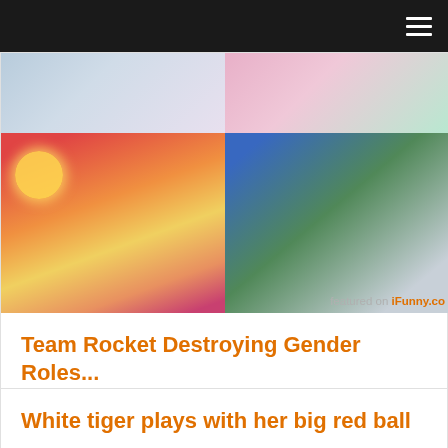[Navigation bar with hamburger menu]
[Figure (photo): Anime screenshot grid showing Team Rocket characters in cross-dressed outfits — top row shows two panels, bottom row shows two panels with female characters laughing, and male characters in dress and wedding gown. iFunny.com watermark visible.]
Team Rocket Destroying Gender Roles...
Read more: http://www.ifunny.com//pictures/team-rocket-destroying-gender-roles/
White tiger plays with her big red ball